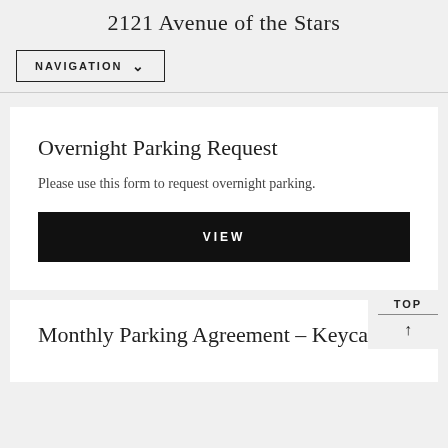2121 Avenue of the Stars
NAVIGATION
Overnight Parking Request
Please use this form to request overnight parking.
VIEW
Monthly Parking Agreement – Keycard